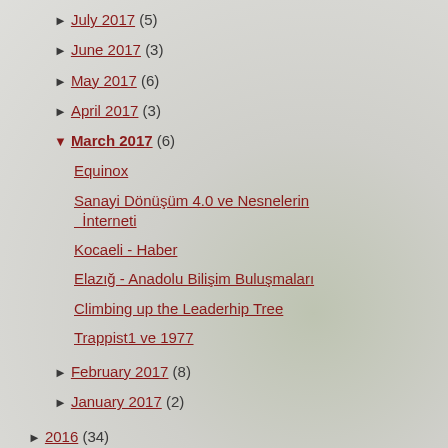► July 2017 (5)
► June 2017 (3)
► May 2017 (6)
► April 2017 (3)
▼ March 2017 (6)
Equinox
Sanayi Dönüşüm 4.0 ve Nesnelerin İnterneti
Kocaeli - Haber
Elazığ - Anadolu Bilişim Buluşmaları
Climbing up the Leaderhip Tree
Trappist1 ve 1977
► February 2017 (8)
► January 2017 (2)
► 2016 (34)
► 2015 (30)
► 2014 (30)